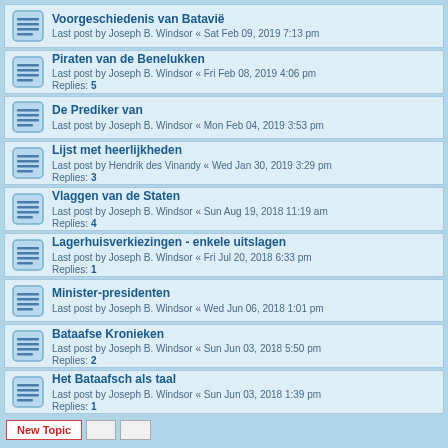Voorgeschiedenis van Batavië
Last post by Joseph B. Windsor « Sat Feb 09, 2019 7:13 pm
Piraten van de Benelukken
Last post by Joseph B. Windsor « Fri Feb 08, 2019 4:06 pm
Replies: 5
De Prediker van
Last post by Joseph B. Windsor « Mon Feb 04, 2019 3:53 pm
Lijst met heerlijkheden
Last post by Hendrik des Vinandy « Wed Jan 30, 2019 3:29 pm
Replies: 3
Vlaggen van de Staten
Last post by Joseph B. Windsor « Sun Aug 19, 2018 11:19 am
Replies: 4
Lagerhuisverkiezingen - enkele uitslagen
Last post by Joseph B. Windsor « Fri Jul 20, 2018 6:33 pm
Replies: 1
Minister-presidenten
Last post by Joseph B. Windsor « Wed Jun 06, 2018 1:01 pm
Bataafse Kronieken
Last post by Joseph B. Windsor « Sun Jun 03, 2018 5:50 pm
Replies: 2
Het Bataafsch als taal
Last post by Joseph B. Windsor « Sun Jun 03, 2018 1:39 pm
Replies: 1
New Topic